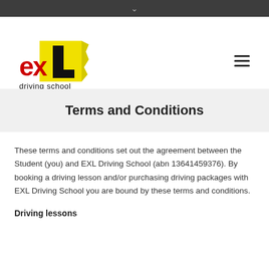[Figure (logo): EXL Driving School logo — red 'ex' text with a yellow torn L-plate graphic and 'driving school' text below]
Terms and Conditions
These terms and conditions set out the agreement between the Student (you) and EXL Driving School (abn 13641459376). By booking a driving lesson and/or purchasing driving packages with EXL Driving School you are bound by these terms and conditions.
Driving lessons